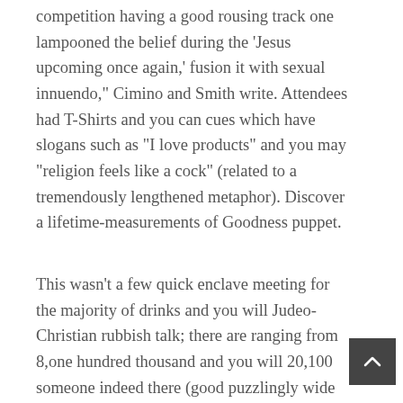competition having a good rousing track one lampooned the belief during the 'Jesus upcoming once again,' fusion it with sexual innuendo," Cimino and Smith write. Attendees had T-Shirts and you can cues which have slogans such as "I love products" and you may "religion feels like a cock" (related to a tremendously lengthened metaphor). Discover a lifetime-measurements of Goodness puppet.
This wasn't a few quick enclave meeting for the majority of drinks and you will Judeo-Christian rubbish talk; there are ranging from 8,one hundred thousand and you will 20,100 someone indeed there (good puzzlingly wide range of quotes, but nevertheless: regarding